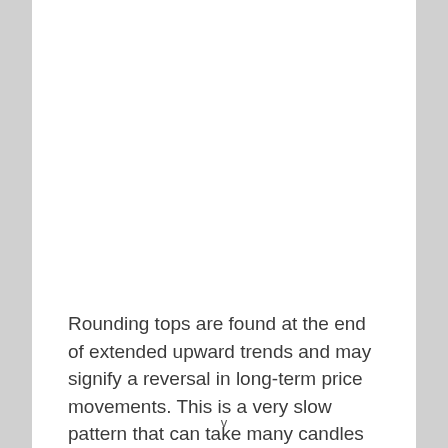Rounding tops are found at the end of extended upward trends and may signify a reversal in long-term price movements. This is a very slow pattern that can take many candles
v